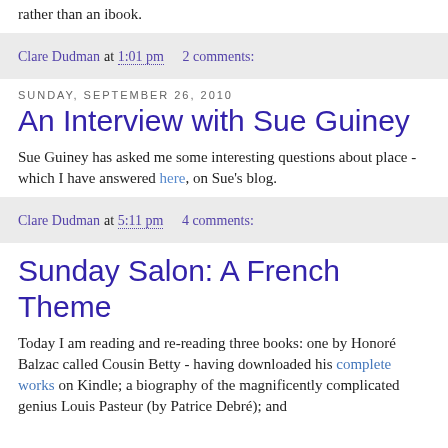rather than an ibook.
Clare Dudman at 1:01 pm   2 comments:
Sunday, September 26, 2010
An Interview with Sue Guiney
Sue Guiney has asked me some interesting questions about place - which I have answered here, on Sue's blog.
Clare Dudman at 5:11 pm   4 comments:
Sunday Salon: A French Theme
Today I am reading and re-reading three books: one by Honoré Balzac called Cousin Betty - having downloaded his complete works on Kindle; a biography of the magnificently complicated genius Louis Pasteur (by Patrice Debré); and